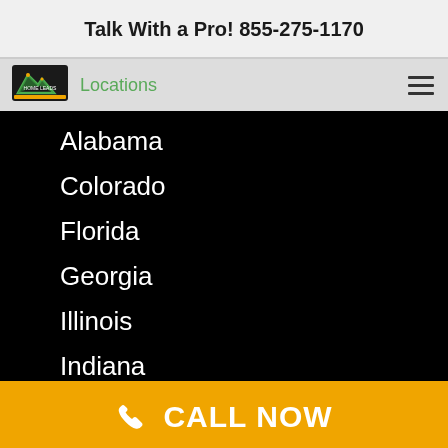Talk With a Pro! 855-275-1170
[Figure (logo): Home Leads logo with mountain/house icon in green and gold]
Locations
Alabama
Colorado
Florida
Georgia
Illinois
Indiana
Kentucky
CALL NOW